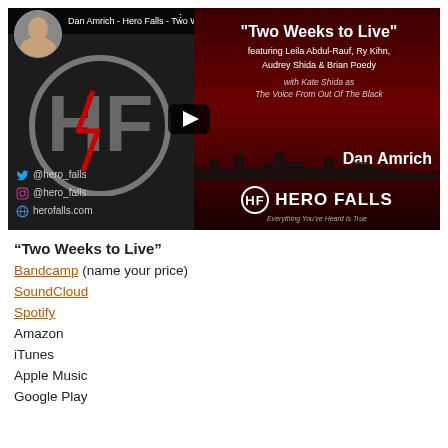[Figure (screenshot): YouTube video thumbnail for Dan Amrich - Hero Falls 'Two Weeks to Live' featuring Leila Abdul-Rauf, Ry Kihn, Audrey Shida & Brian Poedy, with Kate Shida as The Voice From Out Of The Black. Shows Hero Falls band logo on left, dark red background on right with text, play button, and Hero Falls branding. Social media handles @hero_falls (Twitter, Instagram) and herofalls.com shown.]
“Two Weeks to Live”
Bandcamp (name your price)
SoundCloud
Spotify
Amazon
iTunes
Apple Music
Google Play